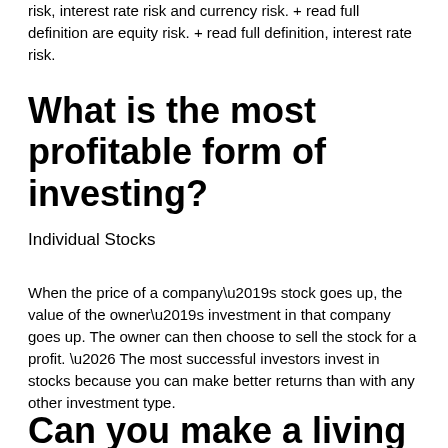risk, interest rate risk and currency risk. + read full definition are equity risk. + read full definition, interest rate risk.
What is the most profitable form of investing?
Individual Stocks
When the price of a company’s stock goes up, the value of the owner’s investment in that company goes up. The owner can then choose to sell the stock for a profit. … The most successful investors invest in stocks because you can make better returns than with any other investment type.
Can you make a living off